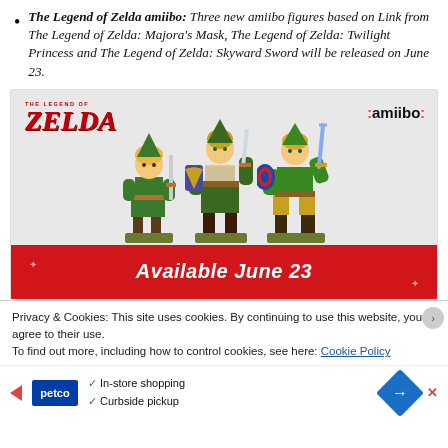The Legend of Zelda amiibo: Three new amiibo figures based on Link from The Legend of Zelda: Majora's Mask, The Legend of Zelda: Twilight Princess and The Legend of Zelda: Skyward Sword will be released on June 23.
[Figure (photo): Three Nintendo amiibo figures of Link from The Legend of Zelda series (Majora's Mask, Twilight Princess, Skyward Sword) displayed on a gray background with The Legend of Zelda logo and amiibo logo. A red banner below reads 'Available June 23'.]
Privacy & Cookies: This site uses cookies. By continuing to use this website, you agree to their use. To find out more, including how to control cookies, see here: Cookie Policy
[Figure (infographic): Petco advertisement banner showing Petco logo with checkmarks for 'In-store shopping' and 'Curbside pickup', with a blue diamond direction arrow.]